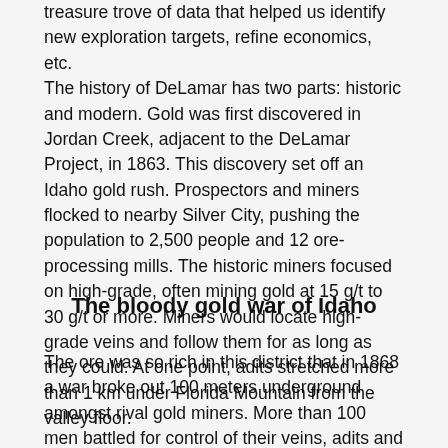treasure trove of data that helped us identify new exploration targets, refine economics, etc. The history of DeLamar has two parts: historic and modern. Gold was first discovered in Jordan Creek, adjacent to the DeLamar Project, in 1863. This discovery set off an Idaho gold rush. Prospectors and miners flocked to nearby Silver City, pushing the population to 2,500 people and 12 ore-processing mills. The historic miners focused on high-grade, often mining gold at 15 g/t to 30 g/t or more. Miners would locate high-grade veins and follow them for as long as they could. At one point, adits stretched more than 1 km under Florida Mountain from the valley floor.
The bloody gold war of Idaho
The ore was so rich in this district that in 1868 a war broke out 100 meters underground amongst rival gold miners. More than 100 men battled for control of their veins, adits and underground camps. When the smoke finally cleared, countless gold miners had been killed and one support timber had been struck by 2,000 bullets. To them, the ore was so rich that it was literally worth dying for.